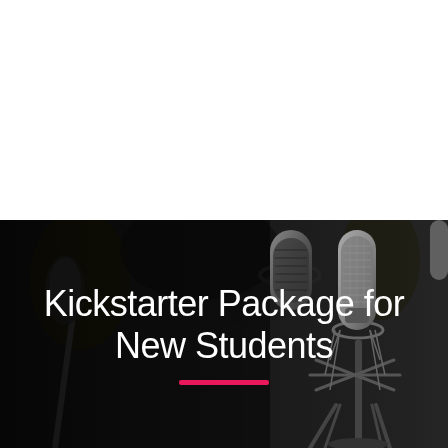[Figure (photo): White blank space at the top of the page, roughly half the page height.]
Kickstarter Package for New Students
[Figure (photo): Dark studio photography background with professional condenser microphones on stands, used as a banner background behind the title text.]